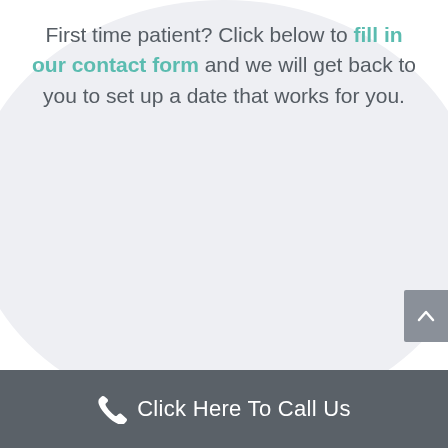First time patient? Click below to fill in our contact form and we will get back to you to set up a date that works for you.
[Figure (other): Gray scroll-to-top button with upward chevron arrow on the right side]
Click Here To Call Us